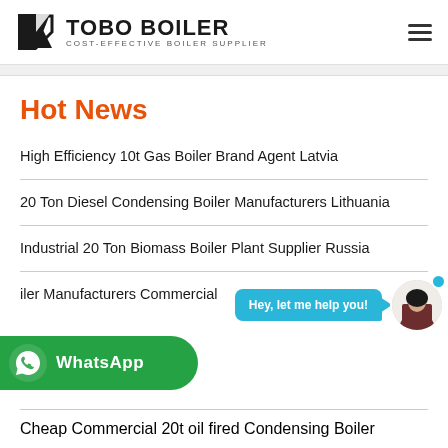TOBO BOILER COST-EFFECTIVE BOILER SUPPLIER
Hot News
High Efficiency 10t Gas Boiler Brand Agent Latvia
20 Ton Diesel Condensing Boiler Manufacturers Lithuania
Industrial 20 Ton Biomass Boiler Plant Supplier Russia
iler Manufacturers Commercial
Cheap Commercial 20t oil fired Condensing Boiler